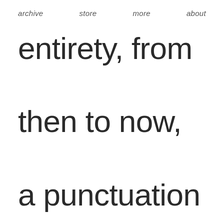archive   store   more   about
entirety, from then to now, a punctuation mark in the